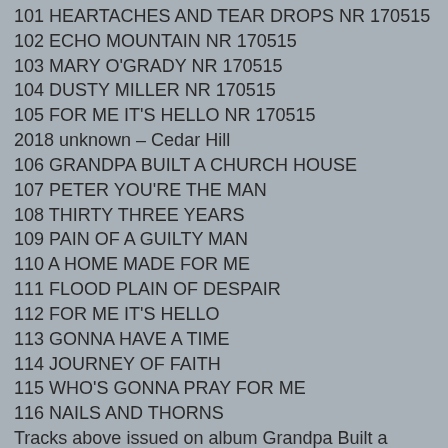101 HEARTACHES AND TEAR DROPS NR 170515
102 ECHO MOUNTAIN NR 170515
103 MARY O'GRADY NR 170515
104 DUSTY MILLER NR 170515
105 FOR ME IT'S HELLO NR 170515
2018 unknown – Cedar Hill
106 GRANDPA BUILT A CHURCH HOUSE
107 PETER YOU'RE THE MAN
108 THIRTY THREE YEARS
109 PAIN OF A GUILTY MAN
110 A HOME MADE FOR ME
111 FLOOD PLAIN OF DESPAIR
112 FOR ME IT'S HELLO
113 GONNA HAVE A TIME
114 JOURNEY OF FAITH
115 WHO'S GONNA PRAY FOR ME
116 NAILS AND THORNS
Tracks above issued on album Grandpa Built a Church House
2021 unknown – Cedar Hill
117 HOW DEEP IS THE LONESOME
118 STANLEY SOUND